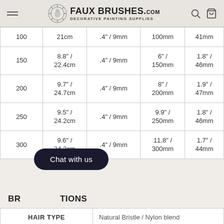FAUX BRUSHES.com DECORATIVE PAINTING SUPPLIES
| Size | Handle Length | Thickness | Bristle Length | Bristle Width |
| --- | --- | --- | --- | --- |
| 100 | 21cm | 4" / 9mm | 100mm | 41mm |
| 150 | 8.8" / 22.4cm | .4" / 9mm | 6" / 150mm | 1.8" / 46mm |
| 200 | 9.7" / 24.7cm | .4" / 9mm | 8" / 200mm | 1.9" / 47mm |
| 250 | 9.5" / 24.2cm | .4" / 9mm | 9.9" / 250mm | 1.8" / 46mm |
| 300 | 9.6" / 24.3cm | .4" / 9mm | 11.8" / 300mm | 1.7" / 44mm |
BRUSH SPECIFICATIONS
| HAIR TYPE |  |
| --- | --- |
| HAIR TYPE | Natural Bristle / Nylon blend |